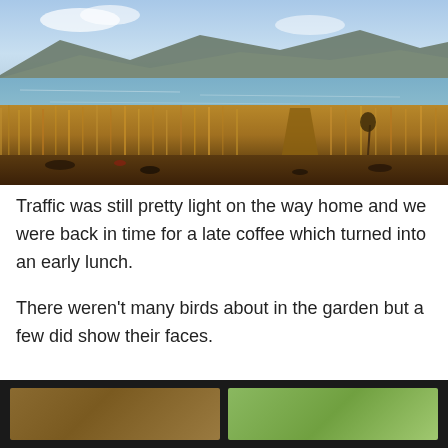[Figure (photo): Landscape photo of a reed bed/marsh in the foreground with golden-brown reeds, a large lake or loch in the middle ground, and hills/mountains in the background under a partly cloudy blue sky.]
Traffic was still pretty light on the way home and we were back in time for a late coffee which turned into an early lunch.
There weren't many birds about in the garden but a few did show their faces.
[Figure (photo): Two photos side by side inside a dark/black border frame, partially cut off at bottom of page. Left photo shows a brown/tan bird, right photo shows a green background scene.]